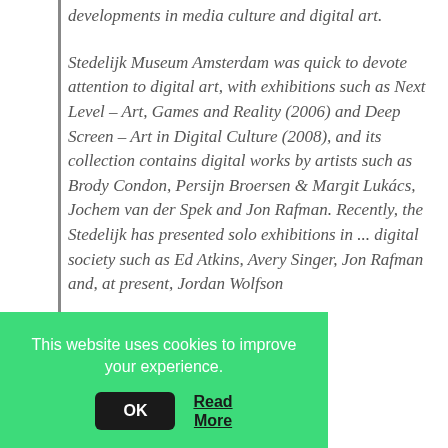...developments in media culture and digital art.
Stedelijk Museum Amsterdam was quick to devote attention to digital art, with exhibitions such as Next Level – Art, Games and Reality (2006) and Deep Screen – Art in Digital Culture (2008), and its collection contains digital works by artists such as Brody Condon, Persijn Broersen & Margit Lukács, Jochem van der Spek and Jon Rafman. Recently, the Stedelijk has presented solo exhibitions in ... digital society such as Ed Atkins, Avery Singer, Jon Rafman and, at present, Jordan Wolfson
This website uses cookies to improve your experience.